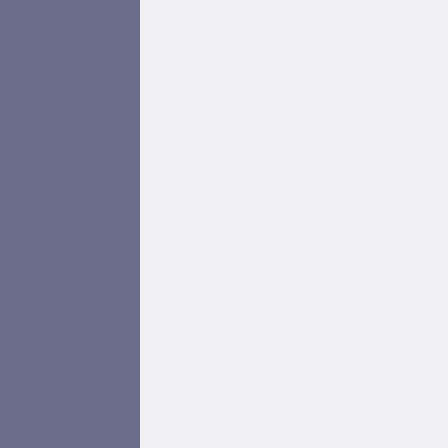. There is also sjw-related stuff in description for some of options. Another interesting fact: systemd